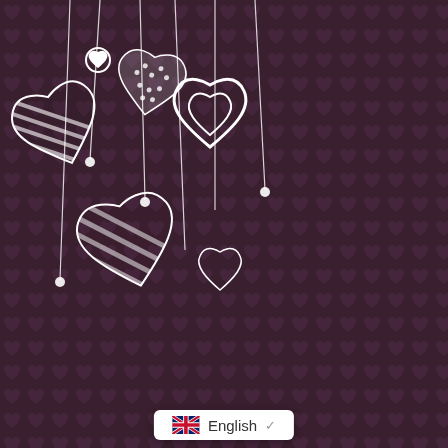[Figure (illustration): A Valentine's Day themed spin-to-win prize wheel on a dark maroon background with heart pattern. The wheel has segments labeled: Nothing, FREE SHIPPING, Almost, 25% OFF, No luck today, 15% OFF, and more. Decorated hanging hearts in white/outline style appear in the top-left corner. A pink arrow pointer is on the right side of the wheel.]
English